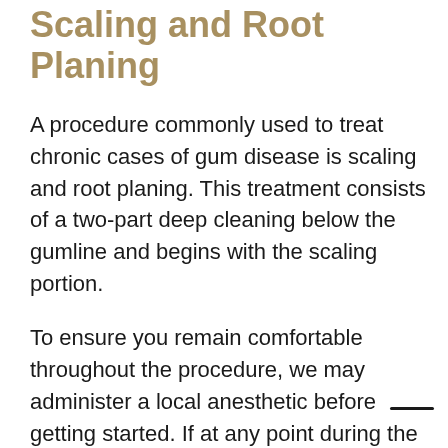Scaling and Root Planing
A procedure commonly used to treat chronic cases of gum disease is scaling and root planing. This treatment consists of a two-part deep cleaning below the gumline and begins with the scaling portion.
To ensure you remain comfortable throughout the procedure, we may administer a local anesthetic before getting started. If at any point during the cleaning you feel pain, please don't hesitate to let our dentist, assistants, or hygienists know.